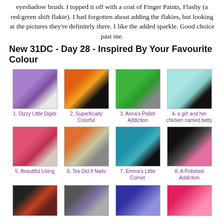eyeshadow brush. I topped it off with a coat of Finger Paints, Flashy (a red/green shift flakie). I had forgotten about adding the flakies, but looking at the pictures they're definitely there. I like the added sparkle. Good choice past me.
New 31DC - Day 28 - Inspired By Your Favourite Colour
[Figure (photo): Grid of 8 nail art photos. Row 1: 1. Dizzy Little Digits (purple glitter nails), 2. Superficially Colorful (tiger face nail art), 3. Anna's Polish Addiction (green nails), 4. a girl and her chicken named betty (light blue with black tree design). Row 2: 5. Beautiful Living (pink/red nails), 6. Tes Did It Nails (orange with grey glitter nails), 7. Emma's Little Corner (teal nails), 8. A Polished Addiction (black and pink nails).]
[Figure (photo): Partial row of 4 more nail art thumbnails at bottom of page, partially cut off.]